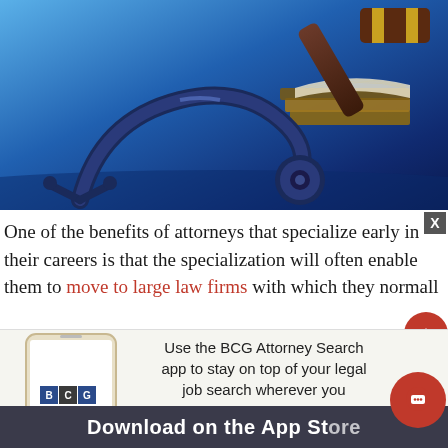[Figure (photo): Photo of a stethoscope and a judge's gavel resting on law books against a blue background, representing medical law or legal healthcare topics.]
One of the benefits of attorneys that specialize early in their careers is that the specialization will often enable them to move to large law firms with which they normally
[Figure (infographic): BCG Attorney Search app advertisement banner showing a smartphone with the BCG Attorney Search logo and the text: Use the BCG Attorney Search app to stay on top of your legal job search wherever you. Download on the App Store.]